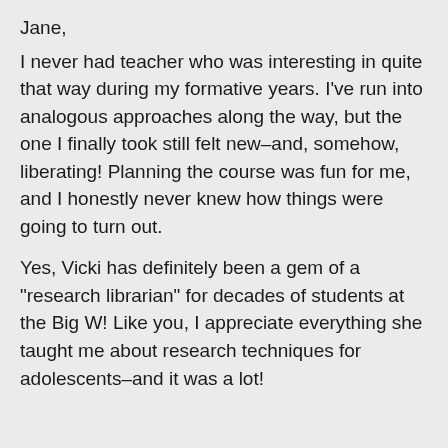Jane,
I never had teacher who was interesting in quite that way during my formative years. I’ve run into analogous approaches along the way, but the one I finally took still felt new–and, somehow, liberating! Planning the course was fun for me, and I honestly never knew how things were going to turn out.
Yes, Vicki has definitely been a gem of a “research librarian” for decades of students at the Big W! Like you, I appreciate everything she taught me about research techniques for adolescents–and it was a lot!